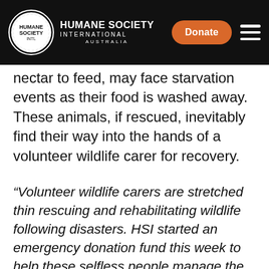HUMANE SOCIETY INTERNATIONAL AUSTRALIA
nectar to feed, may face starvation events as their food is washed away. These animals, if rescued, inevitably find their way into the hands of a volunteer wildlife carer for recovery.
“Volunteer wildlife carers are stretched thin rescuing and rehabilitating wildlife following disasters. HSI started an emergency donation fund this week to help these selfless people manage the flood fallout and our supporters immediately responded to lend a hand. We’re here to make sure wildlife carers get the help they need in these trying